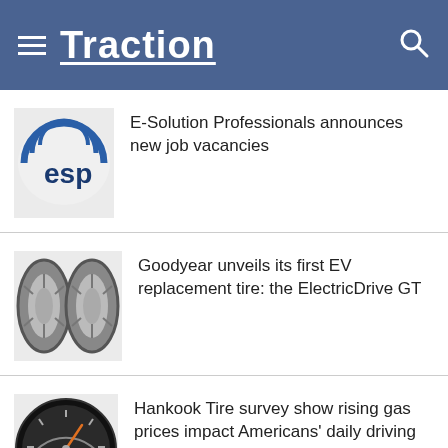Traction
[Figure (logo): ESP logo - partial circular logo with 'esp' text]
E-Solution Professionals announces new job vacancies
[Figure (photo): Two Goodyear tires side by side]
Goodyear unveils its first EV replacement tire: the ElectricDrive GT
[Figure (photo): Hankook Gauge Index dial/speedometer logo]
Hankook Tire survey show rising gas prices impact Americans' daily driving